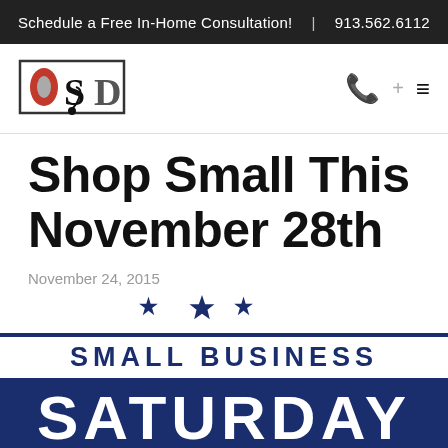Schedule a Free In-Home Consultation!  |  913.562.6112
[Figure (logo): OSD logo — stylized letters O, S, D in black/red/grey with a musical note swirl]
Shop Small This November 28th
November 24, 2015
[Figure (illustration): Three decorative navy blue star symbols centered on the page]
[Figure (infographic): Small Business Saturday banner — top line reads 'SMALL BUSINESS' in navy bold text with navy border lines, bottom section reads 'SATURDAY' in large white bold text on navy background]